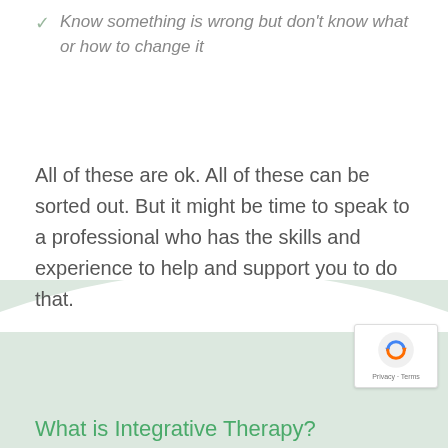Know something is wrong but don't know what or how to change it
All of these are ok. All of these can be sorted out. But it might be time to speak to a professional who has the skills and experience to help and support you to do that.
What is Integrative Therapy?